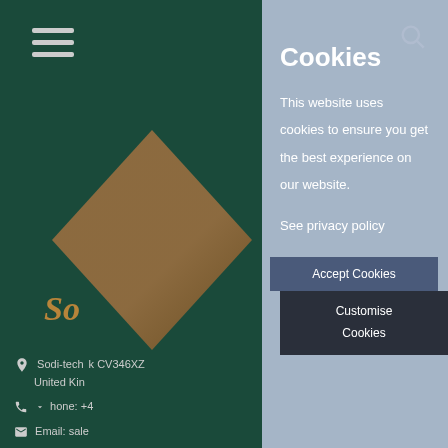[Figure (screenshot): Website screenshot of Sodi-tech company page with dark green background, logo diamond shape, hamburger menu icon, search icon, and partial address/contact information visible on left side]
Cookies
This website uses cookies to ensure you get the best experience on our website.
See privacy policy
Accept Cookies
Customise Cookies